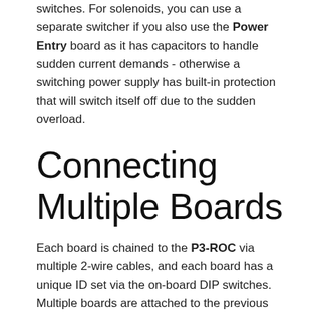switches. For solenoids, you can use a separate switcher if you also use the Power Entry board as it has capacitors to handle sudden current demands - otherwise a switching power supply has built-in protection that will switch itself off due to the sudden overload.
Connecting Multiple Boards
Each board is chained to the P3-ROC via multiple 2-wire cables, and each board has a unique ID set via the on-board DIP switches. Multiple boards are attached to the previous board in a daisy-chain until the chain ends at the P3-ROC as in the below diagram. The diagram is only an example - any driver board can be connected to driver serial, so you can put either PD-16s or PD-LEDs on the driver serial in any order.